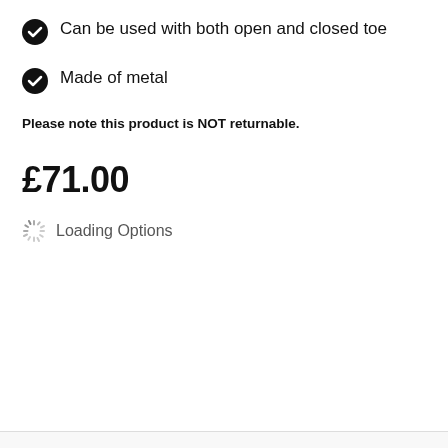Can be used with both open and closed toe
Made of metal
Please note this product is NOT returnable.
£71.00
Loading Options